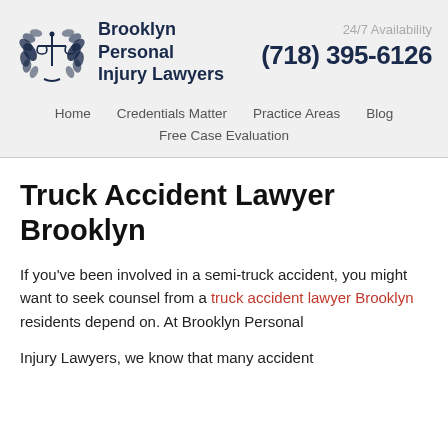[Figure (logo): Brooklyn Personal Injury Lawyers logo with scales of justice and laurel wreath]
Brooklyn Personal Injury Lawyers
24/7 Availability
(718) 395-6126
Home | Credentials Matter | Practice Areas | Blog | Free Case Evaluation
Truck Accident Lawyer Brooklyn
If you've been involved in a semi-truck accident, you might want to seek counsel from a truck accident lawyer Brooklyn residents depend on. At Brooklyn Personal
Injury Lawyers, we know that many accident